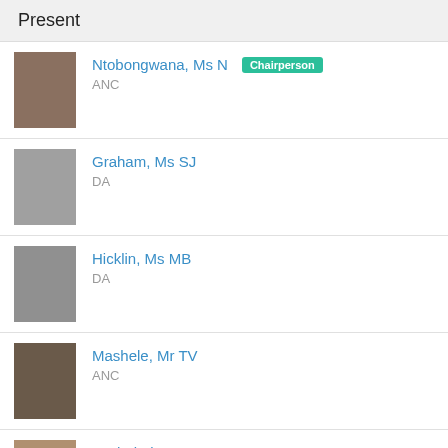Present
Ntobongwana, Ms N — Chairperson, ANC
Graham, Ms SJ — DA
Hicklin, Ms MB — DA
Mashele, Mr TV — ANC
Mathebula, Mr FE